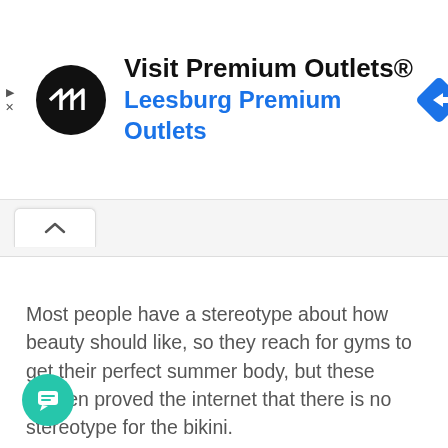[Figure (screenshot): Advertisement banner for Premium Outlets with circular logo, navigation arrow icon, text 'Visit Premium Outlets® Leesburg Premium Outlets']
Most people have a stereotype about how beauty should like, so they reach for gyms to get their perfect summer body, but these women proved the internet that there is no stereotype for the bikini.